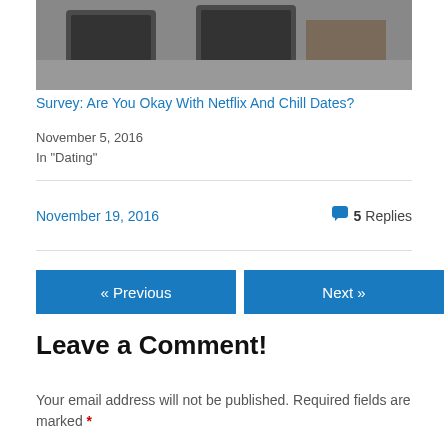[Figure (photo): Partial photo showing people with a laptop, cropped at top of page]
Survey: Are You Okay With Netflix And Chill Dates?
November 5, 2016
In "Dating"
November 19, 2016
5 Replies
« Previous
Next »
Leave a Comment!
Your email address will not be published. Required fields are marked *